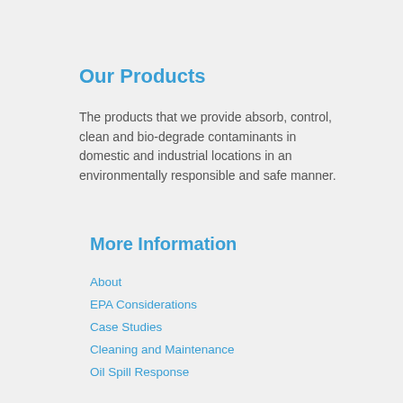Our Products
The products that we provide absorb, control, clean and bio-degrade contaminants in domestic and industrial locations in an environmentally responsible and safe manner.
More Information
About
EPA Considerations
Case Studies
Cleaning and Maintenance
Oil Spill Response